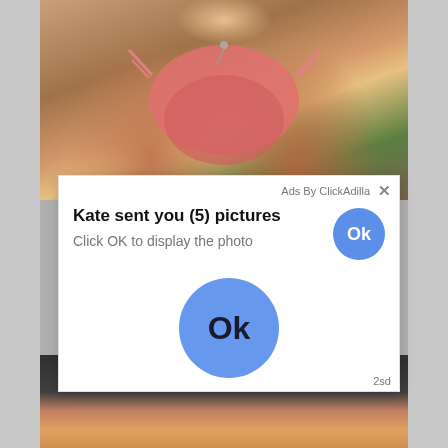[Figure (screenshot): Screenshot of a webpage showing an adult content image (woman in pink bikini) with an overlaid ad popup from ClickAdilla saying 'Kate sent you (5) pictures - Click OK to display the photo' with Ok buttons]
Ads By ClickAdilla
Kate sent you (5) pictures
Click OK to display the photo
Ok
Ok
2sd